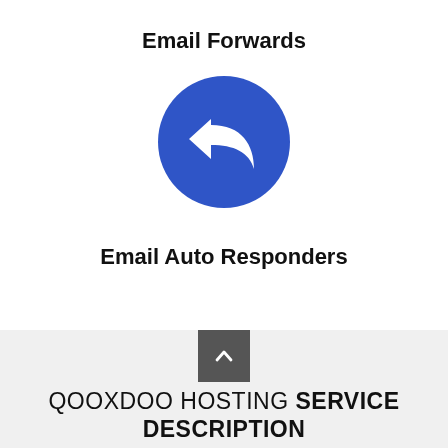Email Forwards
[Figure (illustration): Blue circle with a white reply/forward arrow icon]
Email Auto Responders
[Figure (illustration): Dark grey square scroll-to-top button with upward chevron arrow]
QOOXDOO HOSTING SERVICE DESCRIPTION